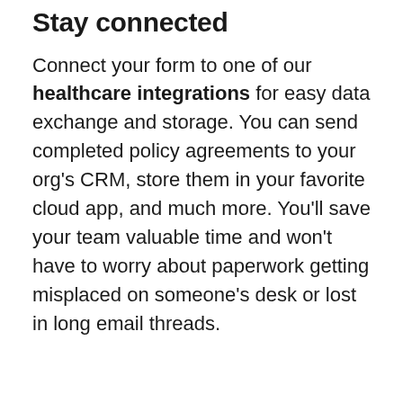Stay connected
Connect your form to one of our healthcare integrations for easy data exchange and storage. You can send completed policy agreements to your org's CRM, store them in your favorite cloud app, and much more. You'll save your team valuable time and won't have to worry about paperwork getting misplaced on someone's desk or lost in long email threads.